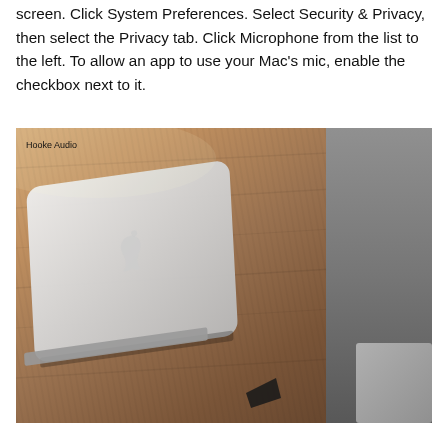screen. Click System Preferences. Select Security & Privacy, then select the Privacy tab. Click Microphone from the list to the left. To allow an app to use your Mac's mic, enable the checkbox next to it.
[Figure (photo): A closed MacBook laptop resting on a wooden desk surface, viewed from above at an angle. The Apple logo is visible on the silver lid. A gray bag or object is partially visible on the right side. A small dark object sits on the desk in the lower center. A 'Hooke Audio' watermark is in the upper left corner of the image.]